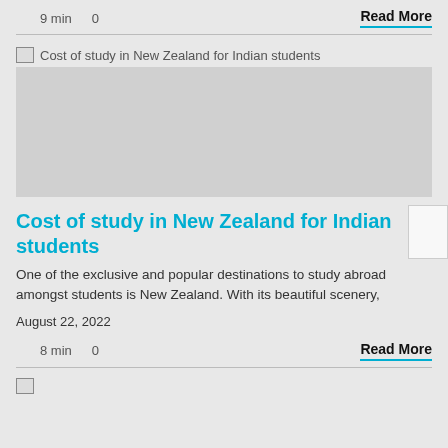9 min    0
Read More
[Figure (photo): Broken image placeholder for 'Cost of study in New Zealand for Indian students']
Cost of study in New Zealand for Indian students
One of the exclusive and popular destinations to study abroad amongst students is New Zealand. With its beautiful scenery,
August 22, 2022
8 min    0
Read More
[Figure (photo): Broken image placeholder for next article]